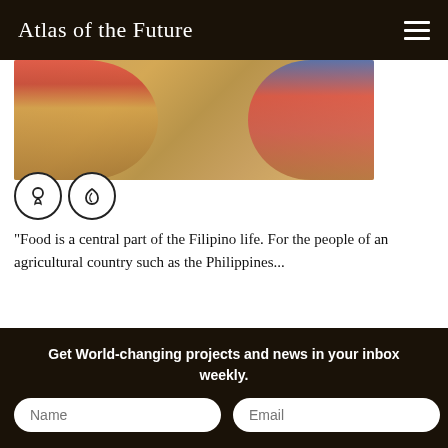Atlas of the Future
[Figure (photo): Overhead view of people in colorful traditional clothing working with natural fibres/grasses on a woven surface]
“Food is a central part of the Filipino life. For the people of an agricultural country such as the Philippines...
→ See more
Egypt (Bilbeis)
Get World-changing projects and news in your inbox weekly.